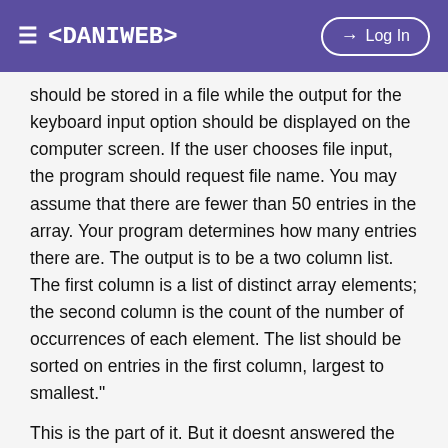≡ <DANIWEB>    → Log In
should be stored in a file while the output for the keyboard input option should be displayed on the computer screen. If the user chooses file input, the program should request file name. You may assume that there are fewer than 50 entries in the array. Your program determines how many entries there are. The output is to be a two column list. The first column is a list of distinct array elements; the second column is the count of the number of occurrences of each element. The list should be sorted on entries in the first column, largest to smallest."
This is the part of it. But it doesnt answered the question 100%. Can someone "genius" help me to complete this. I in urgency..Help...
#include <iostream>
#include <fstream>
using namespace std;
void Keyboard(int *pNum, int *pCount); //case 1
void CountNums(int *pNum, int **pCount, int